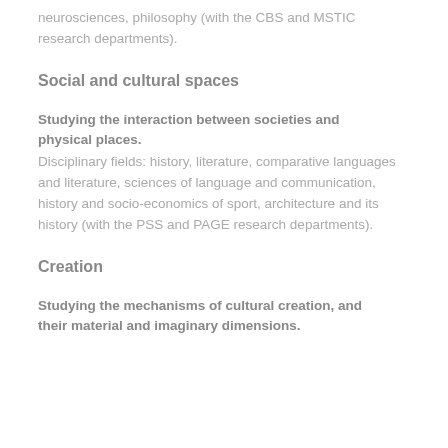neurosciences, philosophy (with the CBS and MSTIC research departments).
Social and cultural spaces
Studying the interaction between societies and physical places.
Disciplinary fields: history, literature, comparative languages and literature, sciences of language and communication, history and socio-economics of sport, architecture and its history (with the PSS and PAGE research departments).
Creation
Studying the mechanisms of cultural creation, and their material and imaginary dimensions.